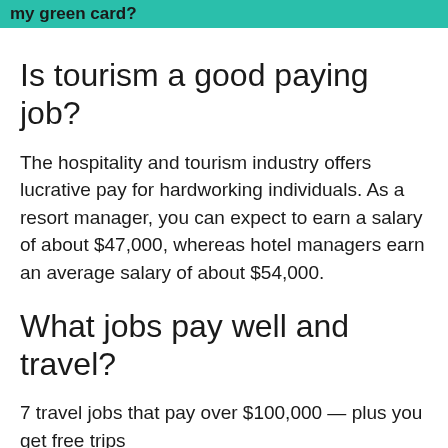my green card?
Is tourism a good paying job?
The hospitality and tourism industry offers lucrative pay for hardworking individuals. As a resort manager, you can expect to earn a salary of about $47,000, whereas hotel managers earn an average salary of about $54,000.
What jobs pay well and travel?
7 travel jobs that pay over $100,000 — plus you get free trips